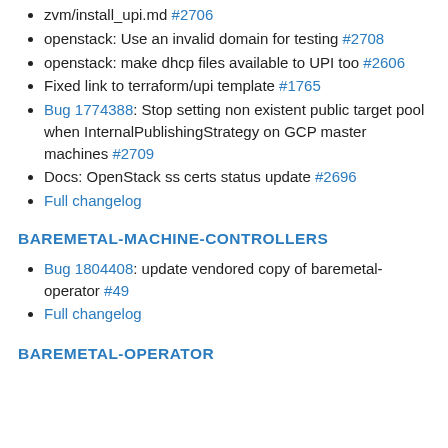zvm/install_upi.md #2706
openstack: Use an invalid domain for testing #2708
openstack: make dhcp files available to UPI too #2606
Fixed link to terraform/upi template #1765
Bug 1774388: Stop setting non existent public target pool when InternalPublishingStrategy on GCP master machines #2709
Docs: OpenStack ss certs status update #2696
Full changelog
BAREMETAL-MACHINE-CONTROLLERS
Bug 1804408: update vendored copy of baremetal-operator #49
Full changelog
BAREMETAL-OPERATOR